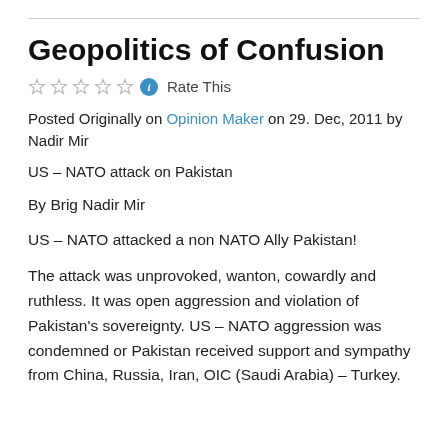Geopolitics of Confusion
Rate This
Posted Originally on Opinion Maker on 29. Dec, 2011 by Nadir Mir
US – NATO attack on Pakistan
By Brig Nadir Mir
US – NATO attacked a non NATO Ally Pakistan!
The attack was unprovoked, wanton, cowardly and ruthless. It was open aggression and violation of Pakistan's sovereignty. US – NATO aggression was condemned or Pakistan received support and sympathy from China, Russia, Iran, OIC (Saudi Arabia) – Turkey.